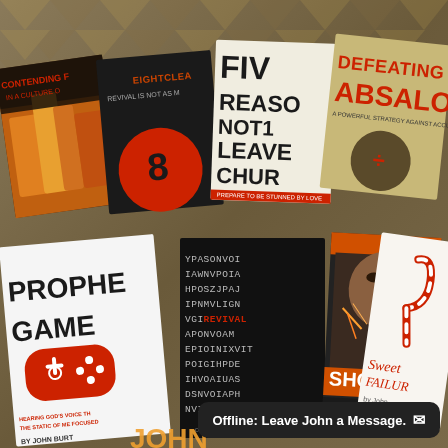[Figure (illustration): A collage of multiple Christian/religious book covers arranged in two rows on a tan/olive patterned background. Top row books: 'Contending in a Culture of...', 'Eight Clear... Revival is Not as M...', 'Five Reasons Not to Leave Church', 'Defeating Absalom - A Powerful Strategy Against Accusation, Betrayal & Division'. Bottom row books: 'Prophetic Gamer - Hearing God's Voice through the Static of Me Focused... By John Burt...', a dark book with word-search style text including 'REVIVAL', 'Shocking Christian...' (man with fire), 'Sweet Failure by John...'. A notification banner at bottom right reads 'Offline: Leave John a Message.' with an envelope icon.]
Offline: Leave John a Message.